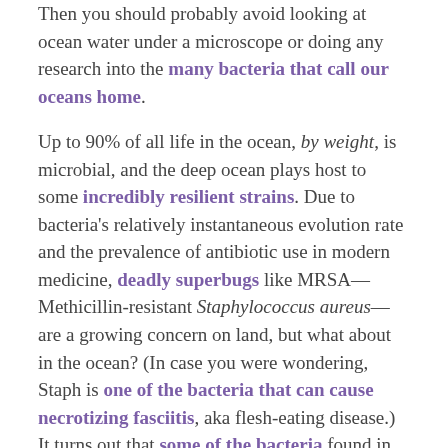Then you should probably avoid looking at ocean water under a microscope or doing any research into the many bacteria that call our oceans home.
Up to 90% of all life in the ocean, by weight, is microbial, and the deep ocean plays host to some incredibly resilient strains. Due to bacteria's relatively instantaneous evolution rate and the prevalence of antibiotic use in modern medicine, deadly superbugs like MRSA—Methicillin-resistant Staphylococcus aureus—are a growing concern on land, but what about in the ocean? (In case you were wondering, Staph is one of the bacteria that can cause necrotizing fasciitis, aka flesh-eating disease.) It turns out that some of the bacteria found in the deep ocean make MRSA sound like a stroll through the daffodils. Fattened on whale falls,